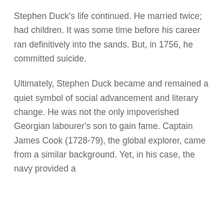Stephen Duck's life continued. He married twice; had children. It was some time before his career ran definitively into the sands. But, in 1756, he committed suicide.
Ultimately, Stephen Duck became and remained a quiet symbol of social advancement and literary change. He was not the only impoverished Georgian labourer's son to gain fame. Captain James Cook (1728-79), the global explorer, came from a similar background. Yet, in his case, the navy provided a career structure (and a route to controversy via the mutual meetings/misunderstandings of global cultures).⁹ Cook's name is now commemorated in many locations worldwide; there is even a crater on the moon, named after him.
Stephen Duck, by contrast, is celebrated in Charlton